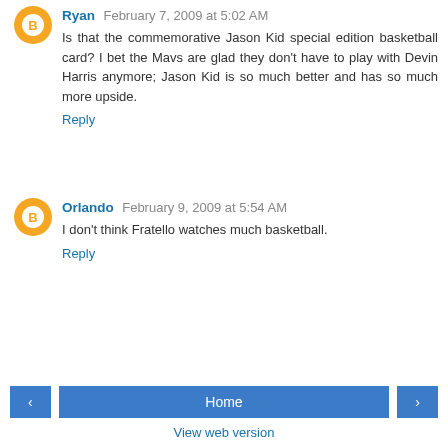Ryan  February 7, 2009 at 5:02 AM
Is that the commemorative Jason Kid special edition basketball card? I bet the Mavs are glad they don't have to play with Devin Harris anymore; Jason Kid is so much better and has so much more upside.
Reply
Orlando  February 9, 2009 at 5:54 AM
I don't think Fratello watches much basketball.
Reply
Home  View web version